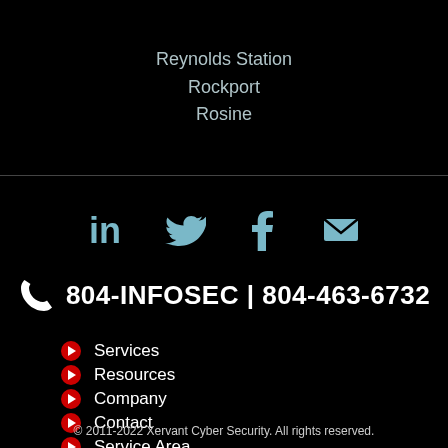Reynolds Station
Rockport
Rosine
[Figure (infographic): Social media icons: LinkedIn, Twitter, Facebook, Email]
804-INFOSEC | 804-463-6732
Services
Resources
Company
Contact
Service Area
Site Map
Privacy Policy
Terms of Use
© 2011-2022 Xervant Cyber Security. All rights reserved.